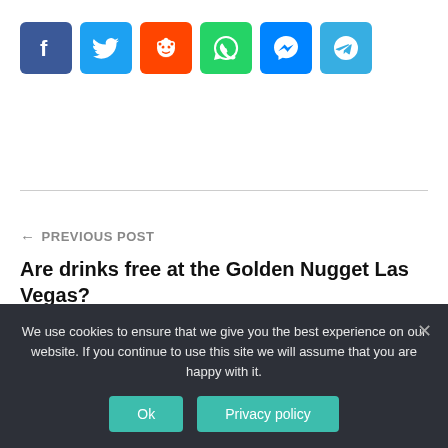[Figure (infographic): Row of 6 social media share buttons: Facebook (blue), Twitter (blue), Reddit (orange-red), WhatsApp (green), Messenger (blue), Telegram (light blue)]
← PREVIOUS POST
Are drinks free at the Golden Nugget Las Vegas?
NEXT POST →
Can I put an indoor TV
↑ TOP
We use cookies to ensure that we give you the best experience on our website. If you continue to use this site we will assume that you are happy with it.
Ok
Privacy policy